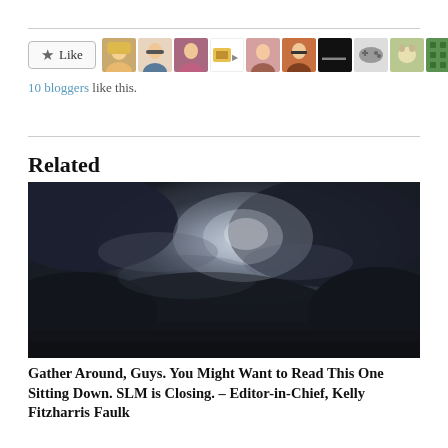[Figure (other): Like button with star icon followed by 10 blogger avatar thumbnails]
10 bloggers like this.
Related
[Figure (photo): Dark moody photo of cloudy night sky with faint light visible through clouds]
Gather Around, Guys. You Might Want to Read This One Sitting Down. SLM is Closing. – Editor-in-Chief, Kelly Fitzharris Faulk